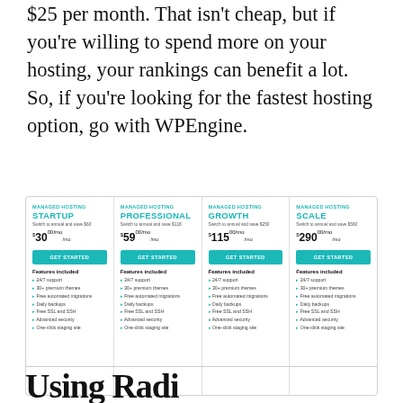$25 per month. That isn't cheap, but if you're willing to spend more on your hosting, your rankings can benefit a lot. So, if you're looking for the fastest hosting option, go with WPEngine.
| STARTUP | PROFESSIONAL | GROWTH | SCALE |
| --- | --- | --- | --- |
| $30/mo | $59/mo | $115/mo | $290/mo |
| Features included | Features included | Features included | Features included |
| 24/7 support, 30+ premium themes, Free automated migrations, Daily backups, Free SSL and SSH, Advanced security, One-click staging site | 24/7 support, 30+ premium themes, Free automated migrations, Daily backups, Free SSL and SSH, Advanced security, One-click staging site | 24/7 support, 30+ premium themes, Free automated migrations, Daily backups, Free SSL and SSH, Advanced security, One-click staging site | 24/7 support, 30+ premium themes, Free automated migrations, Daily backups, Free SSL and SSH, Advanced security, One-click staging site |
Using Radi...